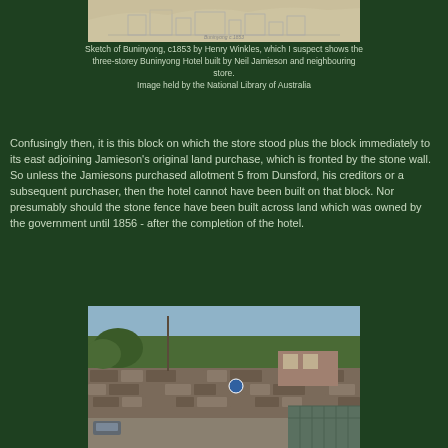[Figure (photo): Sketch of Buninyong, c1853 by Henry Winkles, showing a town scene with buildings]
Sketch of Buninyong, c1853 by Henry Winkles, which I suspect shows the three-storey Buninyong Hotel built by Neil Jamieson and neighbouring store.
Image held by the National Library of Australia
Confusingly then, it is this block on which the store stood plus the block immediately to its east adjoining Jamieson's original land purchase, which is fronted by the stone wall. So unless the Jamiesons purchased allotment 5 from Dunsford, his creditors or a subsequent purchaser, then the hotel cannot have been built on that block. Nor presumably should the stone fence have been built across land which was owned by the government until 1856 - after the completion of the hotel.
[Figure (photo): Photograph of a stone wall along a road with trees in the background, Buninyong]